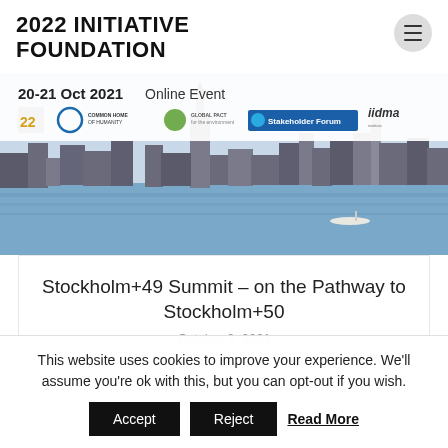2022 INITIATIVE FOUNDATION
[Figure (photo): Banner for Stockholm+49 Summit Online Event 20-21 Oct 2021, showing logos of partner organizations (22 Initiative, Common Home of Humanity, Global Pact for the Environment, Stakeholder Forum, iidma) and a cityscape photo of Stockholm waterfront with city hall visible.]
Stockholm+49 Summit – on the Pathway to Stockholm+50
October 9, 2021
This website uses cookies to improve your experience. We'll assume you're ok with this, but you can opt-out if you wish.